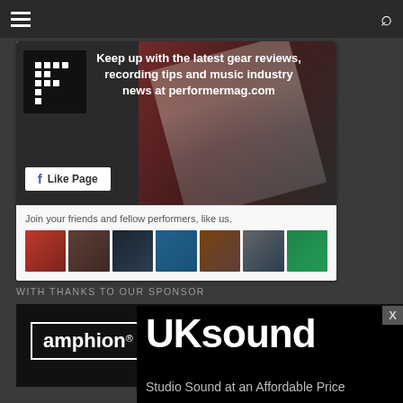[Figure (screenshot): Facebook 'Like Page' widget for performermag.com showing banner with text 'Keep up with the latest gear reviews, recording tips and music industry news at performermag.com', a Like Page button, and profile thumbnail photos of followers with text 'Join your friends and fellow performers, like us.']
WITH THANKS TO OUR SPONSOR
[Figure (screenshot): Amphion speaker brand advertisement showing the Amphion logo in a white bordered box on black background with a speaker cone image]
[Figure (screenshot): UKsound advertisement showing 'UKsound' in large white bold text and 'Studio Sound at an Affordable Price' subtitle on black background with audio equipment images]